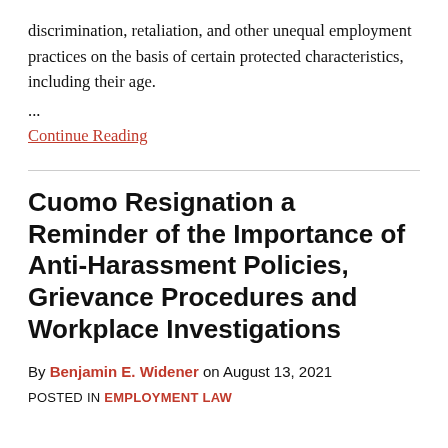discrimination, retaliation, and other unequal employment practices on the basis of certain protected characteristics, including their age.
...
Continue Reading
Cuomo Resignation a Reminder of the Importance of Anti-Harassment Policies, Grievance Procedures and Workplace Investigations
By Benjamin E. Widener on August 13, 2021
POSTED IN EMPLOYMENT LAW